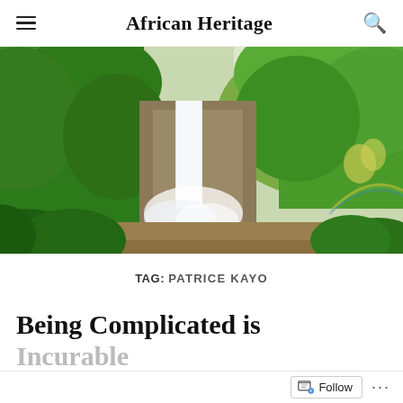African Heritage
[Figure (photo): A lush tropical waterfall scene with dense green vegetation on steep cliffs, a tall waterfall cascading into a misty pool, a brown river visible in the background, and a faint rainbow on the right side.]
TAG: PATRICE KAYO
Being Complicated is Incurable